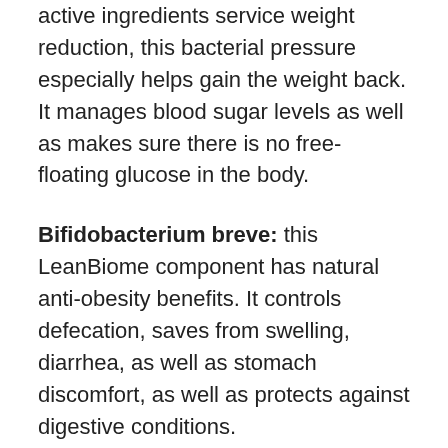active ingredients service weight reduction, this bacterial pressure especially helps gain the weight back. It manages blood sugar levels as well as makes sure there is no free-floating glucose in the body.
Bifidobacterium breve: this LeanBiome component has natural anti-obesity benefits. It controls defecation, saves from swelling, diarrhea, as well as stomach discomfort, as well as protects against digestive conditions.
Bifidobacterium lactis: next in LeanBiome ingredients is Bifidobacterium lactis, which minimizes belly fat. It also saves from digestion problems, especially in more youthful adults.